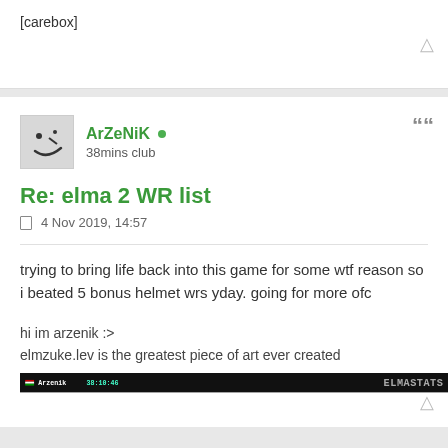[carebox]
ArZeNiK • 38mins club
Re: elma 2 WR list
4 Nov 2019, 14:57
trying to bring life back into this game for some wtf reason so i beated 5 bonus helmet wrs yday. going for more ofc
hi im arzenik :>
elmzuke.lev is the greatest piece of art ever created
[Figure (screenshot): ELMASTATS banner showing: Hungarian flag, Arzenik, 38:10:46, ELMASTATS logo]